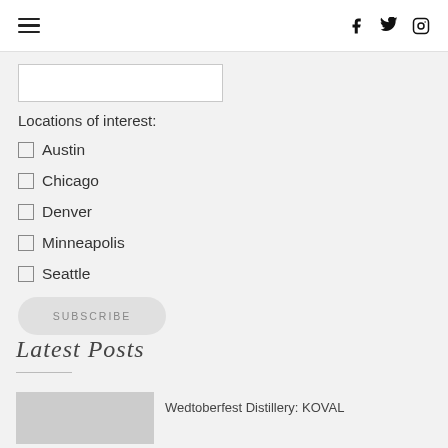hamburger menu, social icons: f, twitter, instagram
[Figure (other): Empty white input box/text field]
Locations of interest:
□ Austin
□ Chicago
□ Denver
□ Minneapolis
□ Seattle
SUBSCRIBE
Latest Posts
Wedtoberfest Distillery: KOVAL